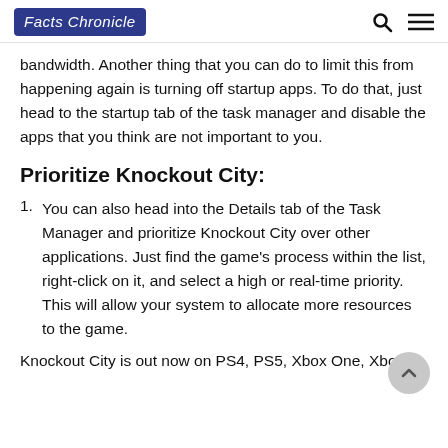Facts Chronicle
bandwidth. Another thing that you can do to limit this from happening again is turning off startup apps. To do that, just head to the startup tab of the task manager and disable the apps that you think are not important to you.
Prioritize Knockout City:
You can also head into the Details tab of the Task Manager and prioritize Knockout City over other applications. Just find the game’s process within the list, right-click on it, and select a high or real-time priority. This will allow your system to allocate more resources to the game.
Knockout City is out now on PS4, PS5, Xbox One, Xbox